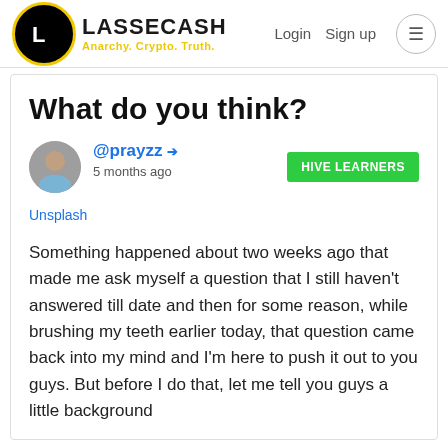LASSECASH — Anarchy. Crypto. Truth. Login Sign up
What do you think?
@prayzz 5 months ago HIVE LEARNERS
Unsplash
Something happened about two weeks ago that made me ask myself a question that I still haven't answered till date and then for some reason, while brushing my teeth earlier today, that question came back into my mind and I'm here to push it out to you guys. But before I do that, let me tell you guys a little background